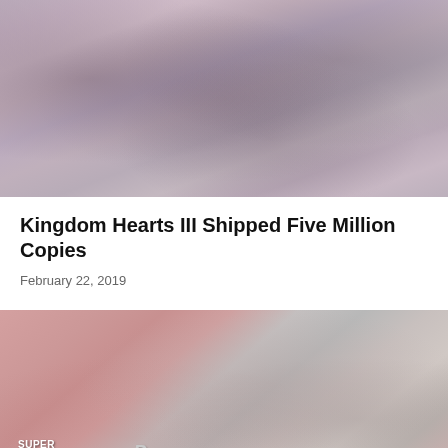[Figure (photo): Screenshot or promotional image from Kingdom Hearts III showing animated characters in a dark, purple-toned scene]
Kingdom Hearts III Shipped Five Million Copies
February 22, 2019
[Figure (photo): Promotional image for Super Smash Bros. x Persona 5, showing a character silhouette on a pink/red background with the Super Smash Bros. Ultimate and Persona 5 logos in the lower left]